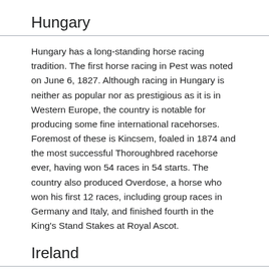Hungary
Hungary has a long-standing horse racing tradition. The first horse racing in Pest was noted on June 6, 1827. Although racing in Hungary is neither as popular nor as prestigious as it is in Western Europe, the country is notable for producing some fine international racehorses. Foremost of these is Kincsem, foaled in 1874 and the most successful Thoroughbred racehorse ever, having won 54 races in 54 starts. The country also produced Overdose, a horse who won his first 12 races, including group races in Germany and Italy, and finished fourth in the King's Stand Stakes at Royal Ascot.
Ireland
Main article: Horse racing in Ireland
Ireland has a rich history of horse racing; point to pointing originated there, and even today, jump racing is more